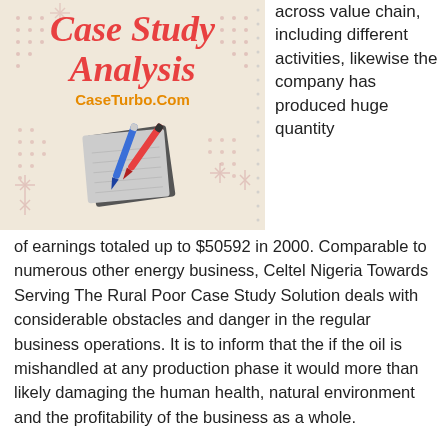[Figure (illustration): Case Study Analysis logo on beige background with 'CaseTurbo.Com' text and illustration of pens on a notebook, with decorative dot patterns]
across value chain, including different activities, likewise the company has produced huge quantity
of earnings totaled up to $50592 in 2000. Comparable to numerous other energy business, Celtel Nigeria Towards Serving The Rural Poor Case Study Solution deals with considerable obstacles and danger in the regular business operations. It is to inform that the if the oil is mishandled at any production phase it would more than likely damaging the human health, natural environment and the profitability of the business as a whole.